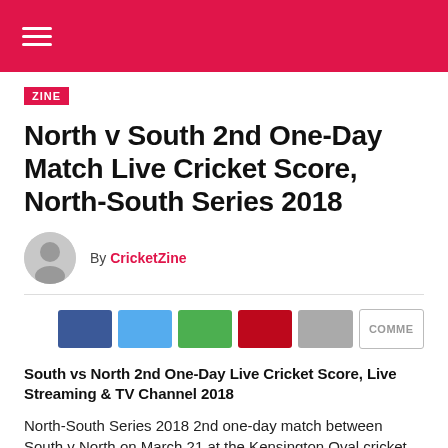ZINE
North v South 2nd One-Day Match Live Cricket Score, North-South Series 2018
By CricketZine
[Figure (other): Social share buttons: Facebook, Twitter, WhatsApp, Pinterest, LinkedIn, Comments]
South vs North 2nd One-Day Live Cricket Score, Live Streaming & TV Channel 2018
North-South Series 2018 2nd one-day match between South v North on March 21 at the Kensington Oval cricket stadium located to the west of the capital city Bridgetown